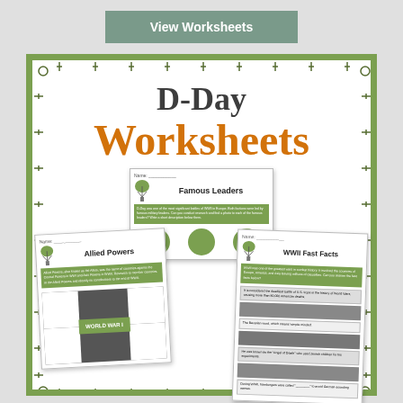[Figure (other): Button/link: View Worksheets on gray-green background]
D-Day
Worksheets
[Figure (illustration): Three overlapping educational worksheet previews inside a decorative green hashtag/dashed border frame. Center sheet: 'Famous Leaders' with parachute icon and green text block and three green circles. Bottom-left sheet: 'Allied Powers' with parachute icon, green text block, and interlocking puzzle graphic with 'WORLD WAR I' label. Bottom-right sheet: 'WWII Fast Facts' with parachute icon, green text block, and several fact boxes with historical photos.]